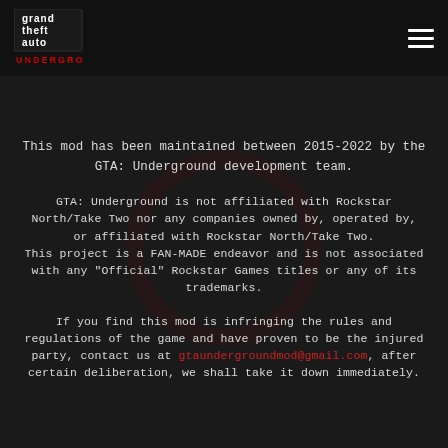GTA Underground logo and hamburger menu
This mod has been maintained between 2015-2022 by the GTA: Underground development team.
GTA: Underground is not affiliated with Rockstar North/Take Two nor any companies owned by, operated by, or affiliated with Rockstar North/Take Two.
This project is a FAN-MADE endeavor and is not associated with any "Official" Rockstar Games titles or any of its trademarks.
If you find this mod is infringing the rules and regulations of the game and have proven to be the injured party, contact us at gtaundergroundmod@gmail.com, after certain deliberation, we shall take it down immediately.